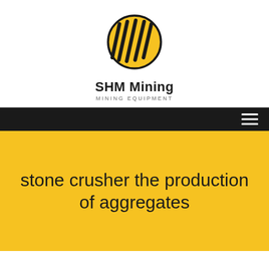[Figure (logo): SHM Mining logo: yellow oval with black diagonal stripe lines, company name 'SHM Mining' in bold below, subtitle 'MINING EQUIPMENT' in small caps below that]
stone crusher the production of aggregates